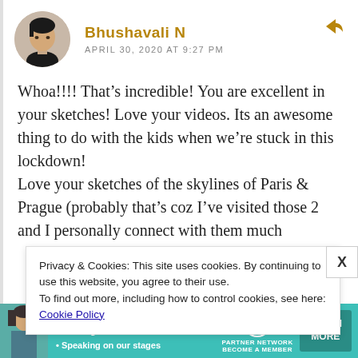[Figure (photo): Circular avatar photo of a person (Bhushavali N)]
Bhushavali N
APRIL 30, 2020 AT 9:27 PM
Whoa!!!! That’s incredible! You are excellent in your sketches! Love your videos. Its an awesome thing to do with the kids when we’re stuck in this lockdown!
Love your sketches of the skylines of Paris & Prague (probably that’s coz I’ve visited those 2 and I personally connect with them much more than the
Privacy & Cookies: This site uses cookies. By continuing to use this website, you agree to their use.
To find out more, including how to control cookies, see here: Cookie Policy
[Figure (infographic): SHE Partner Network advertisement banner with text: Earning site & social revenue, Traffic growth, Speaking on our stages. LEARN MORE button.]